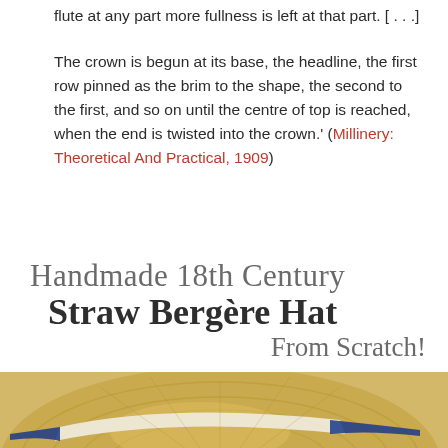flute at any part more fullness is left at that part. […]
The crown is begun at its base, the headline, the first row pinned as the brim to the shape, the second to the first, and so on until the centre of top is reached, when the end is twisted into the crown.' (Millinery: Theoretical And Practical, 1909)
Handmade 18th Century Straw Bergère Hat From Scratch!
[Figure (photo): A straw Bergère hat photographed from above, showing woven straw texture with white and blue ribbon trim]